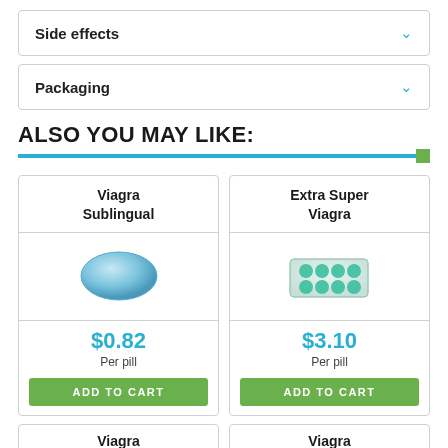Side effects
Packaging
ALSO YOU MAY LIKE:
Viagra Sublingual
$0.82 Per pill
ADD TO CART
Extra Super Viagra
$3.10 Per pill
ADD TO CART
Viagra
Viagra